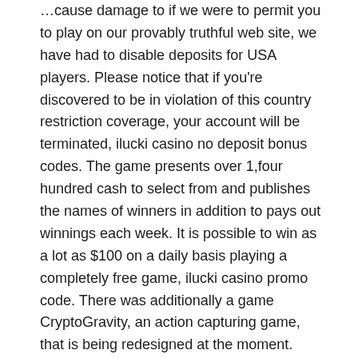…cause damage to if we were to permit you to play on our provably truthful web site, we have had to disable deposits for USA players. Please notice that if you're discovered to be in violation of this country restriction coverage, your account will be terminated, ilucki casino no deposit bonus codes. The game presents over 1,four hundred cash to select from and publishes the names of winners in addition to pays out winnings each week. It is possible to win as a lot as $100 on a daily basis playing a completely free game, ilucki casino promo code. There was additionally a game CryptoGravity, an action capturing game, that is being redesigned at the moment. There are three other video games that might be launched within the near future ' Ionix, UrbanWords and The Moon, ilucki casino. However, EOS Knights has lately rocketed to third place in the most-used blockchain app rankings. EOS Knights permits gamers to gather supplies, craft objects, and battle enemies; the entire usual stuff you'd anticipate in an RPG, ilucki casino bonus codes. That's exactly what makes it an attractive recreation for these interested in incomes Bitcoin. Those elements